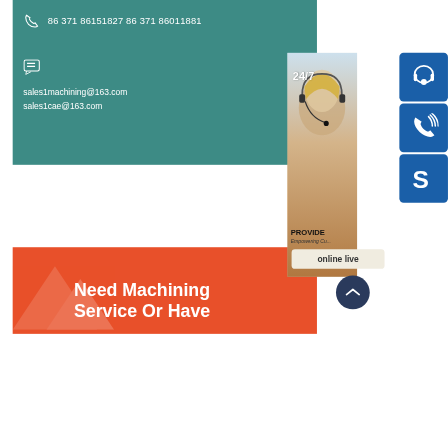86 371 86151827 86 371 86011881
sales1machining@163.com
sales1cae@163.com
[Figure (infographic): Customer service representative with headset, 24/7 support icons including headset icon, phone icon, Skype icon, and online live chat button]
Need Machining Service Or Have